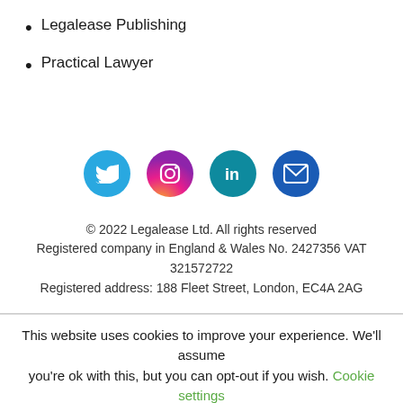Legalease Publishing
Practical Lawyer
[Figure (infographic): Row of four social media icon circles: Twitter (light blue), Instagram (pink/purple gradient), LinkedIn (teal), Email (dark blue)]
© 2022 Legalease Ltd. All rights reserved
Registered company in England & Wales No. 2427356 VAT 321572722
Registered address: 188 Fleet Street, London, EC4A 2AG
This website uses cookies to improve your experience. We'll assume you're ok with this, but you can opt-out if you wish. Cookie settings
ACCEPT